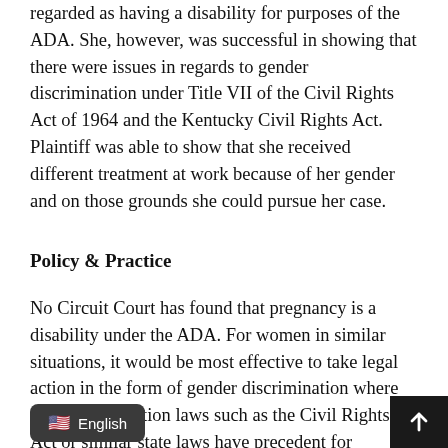regarded as having a disability for purposes of the ADA. She, however, was successful in showing that there were issues in regards to gender discrimination under Title VII of the Civil Rights Act of 1964 and the Kentucky Civil Rights Act. Plaintiff was able to show that she received different treatment at work because of her gender and on those grounds she could pursue her case.
Policy & Practice
No Circuit Court has found that pregnancy is a disability under the ADA. For women in similar situations, it would be most effective to take legal action in the form of gender discrimination where anti-discrimination laws such as the Civil Rights Act or similar state laws have precedent for affording protection to women in similarly placed situations. Additionally, one could make out a case under the Pregnancy Discrimination Act of [text continues] to protect women in Heather